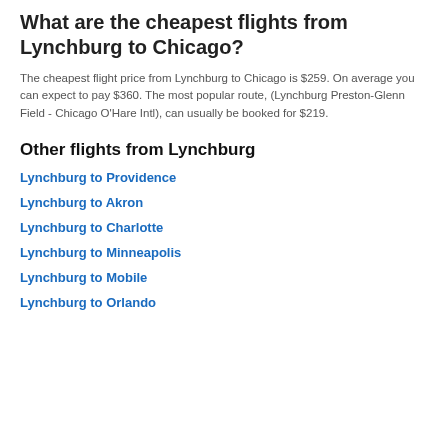What are the cheapest flights from Lynchburg to Chicago?
The cheapest flight price from Lynchburg to Chicago is $259. On average you can expect to pay $360. The most popular route, (Lynchburg Preston-Glenn Field - Chicago O'Hare Intl), can usually be booked for $219.
Other flights from Lynchburg
Lynchburg to Providence
Lynchburg to Akron
Lynchburg to Charlotte
Lynchburg to Minneapolis
Lynchburg to Mobile
Lynchburg to Orlando